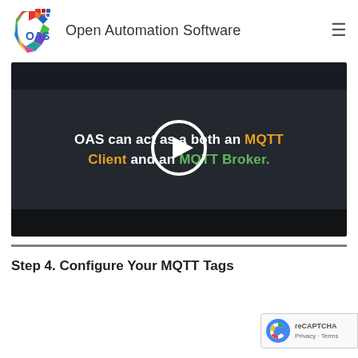Open Automation Software
[Figure (screenshot): Video thumbnail with dark background showing text: 'OAS can act as a both an MQTT Client and an MQTT Broker.' with a circular play button overlay in the center.]
Step 4. Configure Your MQTT Tags